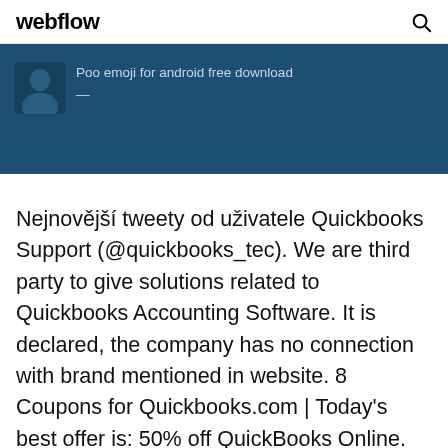webflow
[Figure (screenshot): Dark blue banner with a profile silhouette icon on the left and the text 'Poo emoji for android free download' with a dash below it in light blue-grey text.]
Nejnovější tweety od uživatele Quickbooks Support (@quickbooks_tec). We are third party to give solutions related to Quickbooks Accounting Software. It is declared, the company has no connection with brand mentioned in website. 8 Coupons for Quickbooks.com | Today's best offer is: 50% off QuickBooks Online. Verified